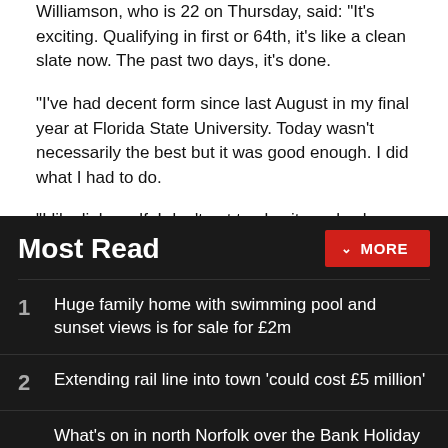Williamson, who is 22 on Thursday, said: "It's exciting. Qualifying in first or 64th, it's like a clean slate now. The past two days, it's done.
"I've had decent form since last August in my final year at Florida State University. Today wasn't necessarily the best but it was good enough. I did what I had to do.
"I like links golf. I don't get to play it much when I'm back out in America. It's always a treat to come here. Wind, rain, anything, I still enjoy playing golf around here and the challenge that it provides."
Most Read
Huge family home with swimming pool and sunset views is for sale for £2m
Extending rail line into town 'could cost £5 million'
What's on in north Norfolk over the Bank Holiday